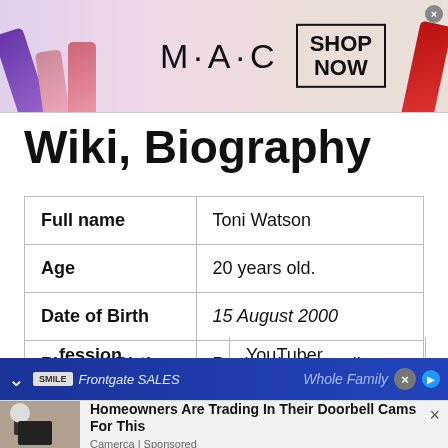[Figure (screenshot): MAC cosmetics advertisement banner with lipsticks and SHOP NOW button]
Wiki, Biography
| Field | Value |
| --- | --- |
| Full name | Toni Watson |
| Age | 20 years old. |
| Date of Birth | 15 August 2000 |
| Place of Birth | Peninsula, Australia |
| Profession | YouTuber |
[Figure (screenshot): Bottom advertisement bar for Frontgate SALES with blue background]
[Figure (screenshot): Bottom notification card: Homeowners Are Trading In Their Doorbell Cams For This, Camerca Sponsored, with outdoor lamp/camera image]